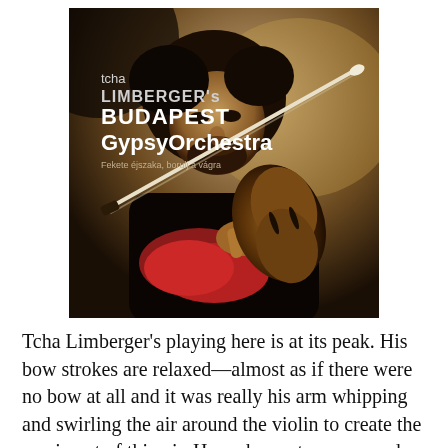[Figure (photo): Album cover for 'tcha LIMBERGER's BUDAPEST GypsyOrchestra' showing a man playing violin, bow extended, in a dark moody photograph. Text overlay reads: tcha LIMBERGER's BUDAPEST GypsyOrchestra, with subtitle in smaller text.]
Tcha Limberger's playing here is at its peak. His bow strokes are relaxed—almost as if there were no bow at all and it was really his arm whipping and swirling the air around the violin to create the music out of thin air. He makes notes weep and wail, then dance interminably